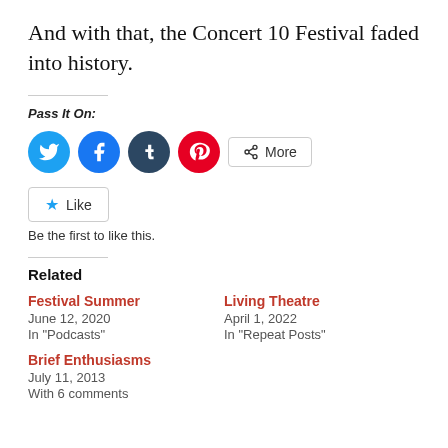And with that, the Concert 10 Festival faded into history.
Pass It On:
[Figure (infographic): Social sharing icons: Twitter (blue circle), Facebook (blue circle), Tumblr (dark blue circle), Pinterest (red circle), and a More button]
[Figure (infographic): Like button with star icon and text 'Be the first to like this.']
Related
Festival Summer
June 12, 2020
In "Podcasts"
Living Theatre
April 1, 2022
In "Repeat Posts"
Brief Enthusiasms
July 11, 2013
With 6 comments
Be the first to like this.